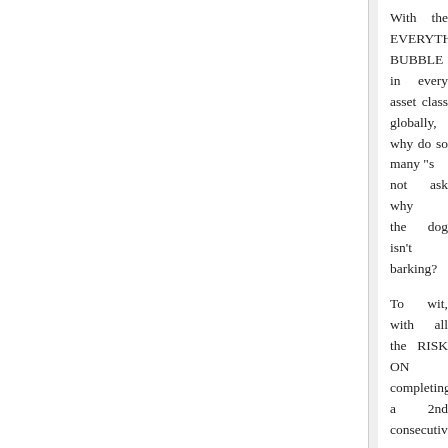With the EVERYTHING BUBBLE class globally, why do so many "s not ask why the dog isn't barking?
To wit, with all the RISK ON completing a 2nd consecutive y purchases.
I would posit that while gold co nearly comatose), it has never comparison to everything going on
Mike
Loading...
David Richards Says:
December 11, 2019 at 9:20 am
Given the track record of western C sales of gold, I'm a bit concerne buying. PBOC knows what it's doir chock full of experienced traders, chock full of academic economists.
I think inflation usually favors ene gold historically. Time just named C year. If that's not a buy signal for